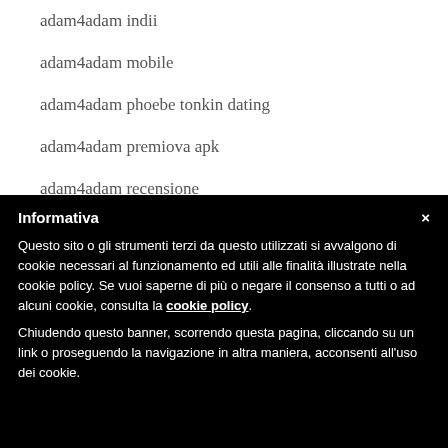adam4adam indii
adam4adam mobile
adam4adam phoebe tonkin dating
adam4adam premiova apk
adam4adam recensione
Adam4Adam review
Informativa
Questo sito o gli strumenti terzi da questo utilizzati si avvalgono di cookie necessari al funzionamento ed utili alle finalità illustrate nella cookie policy. Se vuoi saperne di più o negare il consenso a tutti o ad alcuni cookie, consulta la cookie policy. Chiudendo questo banner, scorrendo questa pagina, cliccando su un link o proseguendo la navigazione in altra maniera, acconsenti all'uso dei cookie.